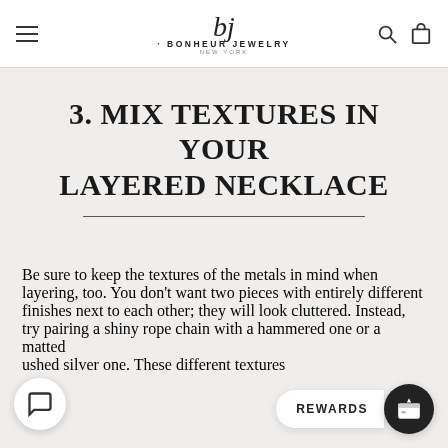Bonheur Jewelry New York
3. MIX TEXTURES IN YOUR LAYERED NECKLACE
Be sure to keep the textures of the metals in mind when layering, too. You don't want two pieces with entirely different finishes next to each other; they will look cluttered. Instead, try pairing a shiny rope chain with a hammered one or a ma[tted] [br]ushed silver one. These different textures